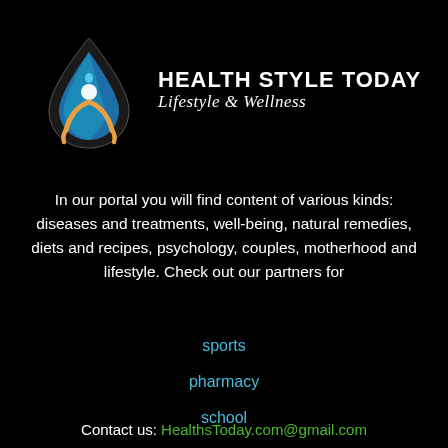[Figure (logo): Health Style Today logo: a teardrop shape with hands and a water drop, next to the brand name]
HEALTH STYLE TODAY
Lifestyle & Wellness
In our portal you will find content of various kinds: diseases and treatments, well-being, natural remedies, diets and recipes, psychology, couples, motherhood and lifestyle. Check out our partners for
sports
pharmacy
school
Contact us: HealthsToday.com@gmail.com